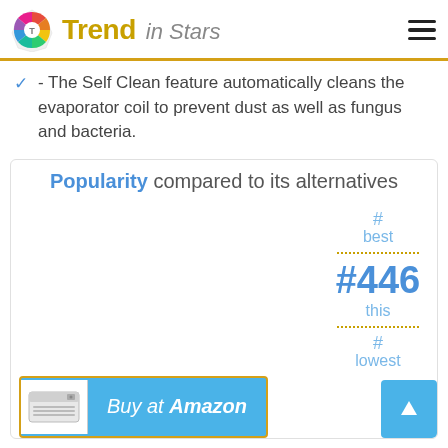Trend in Stars
- The Self Clean feature automatically cleans the evaporator coil to prevent dust as well as fungus and bacteria.
Popularity compared to its alternatives
#
best
#446
this
#
lowest
[Figure (other): Buy at Amazon button with product image of air conditioner]
[Figure (other): Up arrow navigation button]